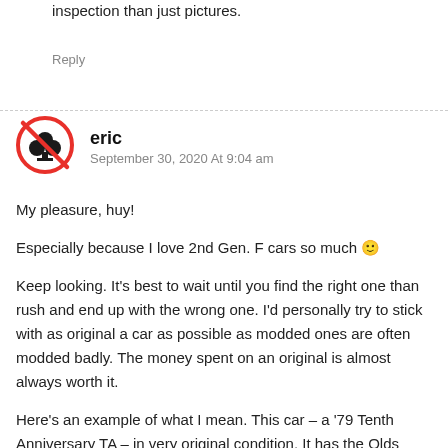inspection than just pictures.
Reply
eric
September 30, 2020 At 9:04 am
My pleasure, huy!
Especially because I love 2nd Gen. F cars so much 🙂
Keep looking. It's best to wait until you find the right one than rush and end up with the wrong one. I'd personally try to stick with as original a car as possible as modded ones are often modded badly. The money spent on an original is almost always worth it.
Here's an example of what I mean. This car – a '79 Tenth Anniversary TA – in very original condition. It has the Olds